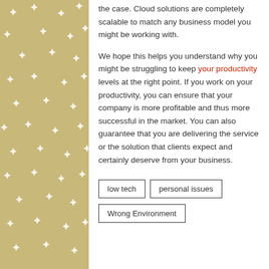the case. Cloud solutions are completely scalable to match any business model you might be working with.
We hope this helps you understand why you might be struggling to keep your productivity levels at the right point. If you work on your productivity, you can ensure that your company is more profitable and thus more successful in the market. You can also guarantee that you are delivering the service or the solution that clients expect and certainly deserve from your business.
low tech
personal issues
Wrong Environment